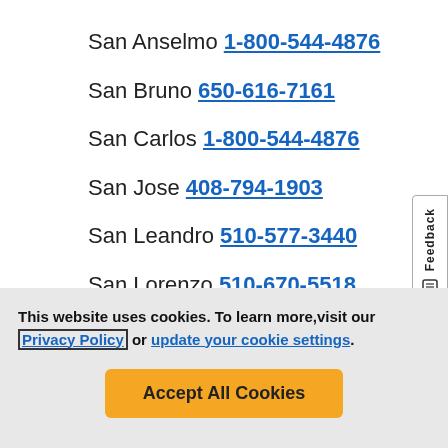San Anselmo 1-800-544-4876
San Bruno 650-616-7161
San Carlos 1-800-544-4876
San Jose 408-794-1903
San Leandro 510-577-3440
San Lorenzo 510-670-5518
This website uses cookies. To learn more, visit our Privacy Policy or update your cookie settings.
Accept All Cookies